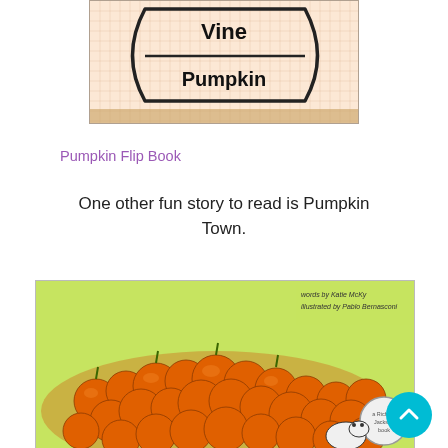[Figure (photo): Photo of a hand-drawn diagram on graph paper showing the text 'Vine' at top and 'Pumpkin' below inside a curved bracket shape]
Pumpkin Flip Book
One other fun story to read is Pumpkin Town.
[Figure (photo): Book cover of 'Pumpkin Town' by Katie McKy, illustrated by Pablo Bernasconi, showing a large pile of orange pumpkins on a yellow-green background with a cow or dairy animal visible at the bottom right]